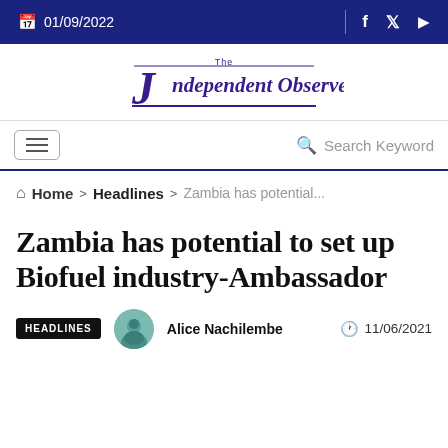01/09/2022
[Figure (logo): The Independent Observer newspaper logo in dark purple/indigo, gothic serif font with decorative underline]
Search Keyword
Home > Headlines > Zambia has potential...
Zambia has potential to set up Biofuel industry-Ambassador
HEADLINES  Alice Nachilembe  11/06/2021